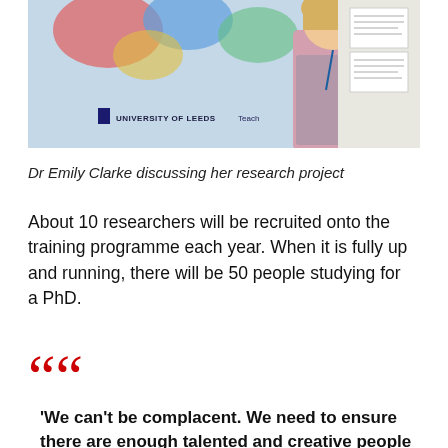[Figure (photo): Photo of Dr Emily Clarke in front of a University of Leeds display screen, raising her arm, smiling.]
Dr Emily Clarke discussing her research project
About 10 researchers will be recruited onto the training programme each year. When it is fully up and running, there will be 50 people studying for a PhD.
“We can’t be complacent. We need to ensure there are enough talented and creative people with the skills and